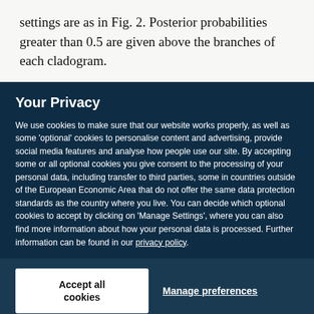settings are as in Fig. 2. Posterior probabilities greater than 0.5 are given above the branches of each cladogram.
Your Privacy
We use cookies to make sure that our website works properly, as well as some 'optional' cookies to personalise content and advertising, provide social media features and analyse how people use our site. By accepting some or all optional cookies you give consent to the processing of your personal data, including transfer to third parties, some in countries outside of the European Economic Area that do not offer the same data protection standards as the country where you live. You can decide which optional cookies to accept by clicking on 'Manage Settings', where you can also find more information about how your personal data is processed. Further information can be found in our privacy policy.
Accept all cookies
Manage preferences